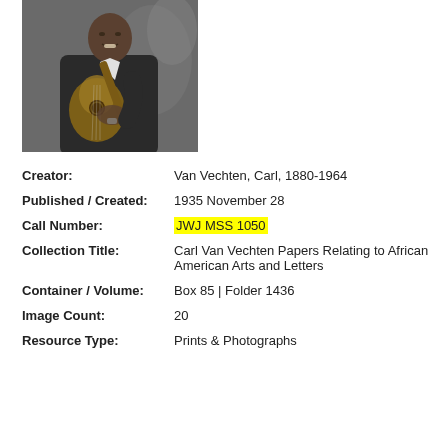[Figure (photo): Black and white photograph of a man in a dark suit playing a guitar, seated against a decorative background]
Creator: Van Vechten, Carl, 1880-1964
Published / Created: 1935 November 28
Call Number: JWJ MSS 1050
Collection Title: Carl Van Vechten Papers Relating to African American Arts and Letters
Container / Volume: Box 85 | Folder 1436
Image Count: 20
Resource Type: Prints & Photographs